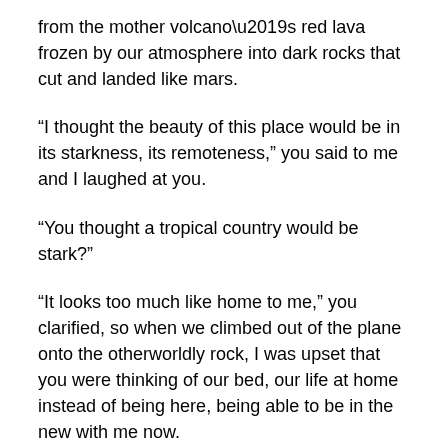from the mother volcano's red lava frozen by our atmosphere into dark rocks that cut and landed like mars.
“I thought the beauty of this place would be in its starkness, its remoteness,” you said to me and I laughed at you.
“You thought a tropical country would be stark?”
“It looks too much like home to me,” you clarified, so when we climbed out of the plane onto the otherworldly rock, I was upset that you were thinking of our bed, our life at home instead of being here, being able to be in the new with me now.